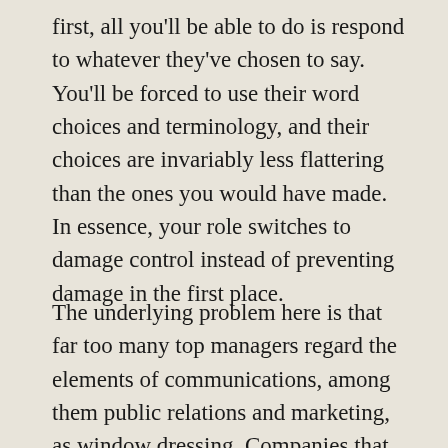first, all you'll be able to do is respond to whatever they've chosen to say. You'll be forced to use their word choices and terminology, and their choices are invariably less flattering than the ones you would have made. In essence, your role switches to damage control instead of preventing damage in the first place.
The underlying problem here is that far too many top managers regard the elements of communications, among them public relations and marketing, as window dressing. Companies that have maintained strong reputations over the years and